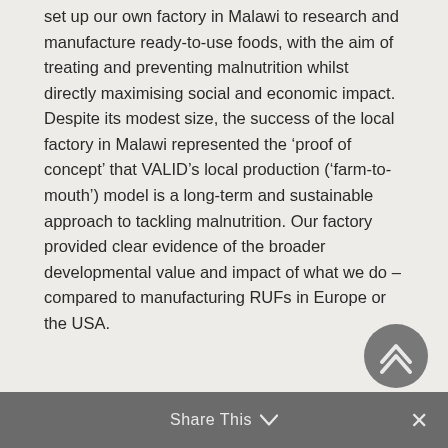set up our own factory in Malawi to research and manufacture ready-to-use foods, with the aim of treating and preventing malnutrition whilst directly maximising social and economic impact. Despite its modest size, the success of the local factory in Malawi represented the ‘proof of concept’ that VALID’s local production (‘farm-to-mouth’) model is a long-term and sustainable approach to tackling malnutrition. Our factory provided clear evidence of the broader developmental value and impact of what we do – compared to manufacturing RUFs in Europe or the USA.
Share This ⌄  ×